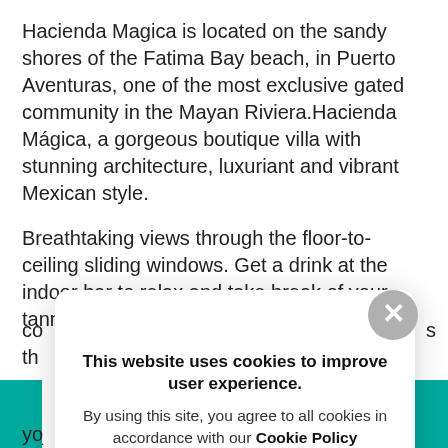Hacienda Magica is located on the sandy shores of the Fatima Bay beach, in Puerto Aventuras, one of the most exclusive gated community in the Mayan Riviera.Hacienda Mágica, a gorgeous boutique villa with stunning architecture, luxuriant and vibrant Mexican style.
Breathtaking views through the floor-to-ceiling sliding windows. Get a drink at the indoor bar to relax and take break of your tanning sessions on the co... th... w... m... sa...
[Figure (screenshot): Cookie consent popup overlay with close button (grey circle with X), bold title 'This website uses cookies to improve user experience.' and body text 'By using this site, you agree to all cookies in accordance with our Cookie Policy'. Teal buttons visible at bottom left and right edges.]